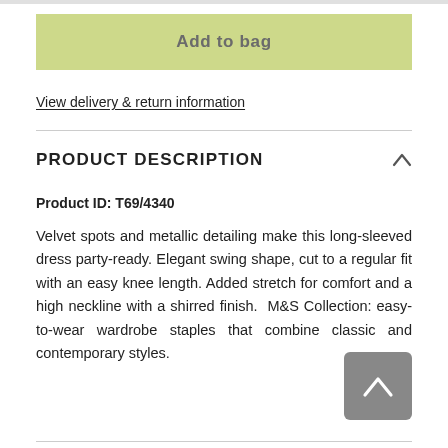Add to bag
View delivery & return information
PRODUCT DESCRIPTION
Product ID: T69/4340
Velvet spots and metallic detailing make this long-sleeved dress party-ready. Elegant swing shape, cut to a regular fit with an easy knee length. Added stretch for comfort and a high neckline with a shirred finish.  M&S Collection: easy-to-wear wardrobe staples that combine classic and contemporary styles.